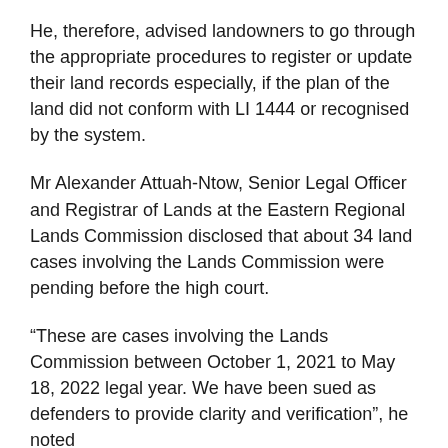He, therefore, advised landowners to go through the appropriate procedures to register or update their land records especially, if the plan of the land did not conform with LI 1444 or recognised by the system.
Mr Alexander Attuah-Ntow, Senior Legal Officer and Registrar of Lands at the Eastern Regional Lands Commission disclosed that about 34 land cases involving the Lands Commission were pending before the high court.
“These are cases involving the Lands Commission between October 1, 2021 to May 18, 2022 legal year. We have been sued as defenders to provide clarity and verification”, he noted
He observed that most land owners failed to register their lands due to the cost involved, and relied on